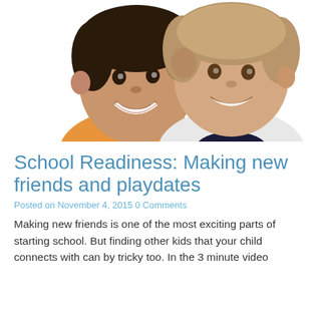[Figure (photo): Two young boys smiling with heads together, one wearing an orange shirt and one wearing a dark-collared white shirt, white background]
School Readiness: Making new friends and playdates
Posted on November 4, 2015 0 Comments
Making new friends is one of the most exciting parts of starting school. But finding other kids that your child connects with can by tricky too. In the 3 minute video